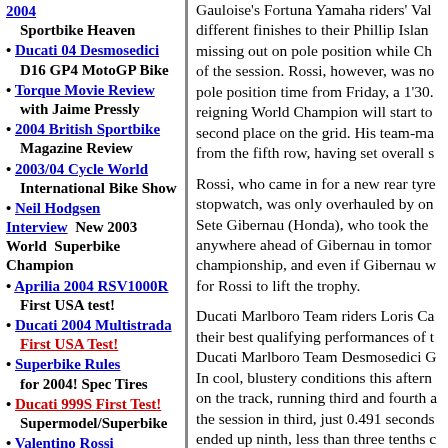2004  Sportbike Heaven
• Ducati 04 Desmosedici  D16 GP4 MotoGP Bike
• Torque Movie Review  with Jaime Pressly
• 2004 British Sportbike Magazine Review
• 2003/04 Cycle World International Bike Show
• Neil Hodgsen Interview  New 2003 World Superbike Champion
• Aprilia 2004 RSV1000R  First USA test!
• Ducati 2004 Multistrada  First USA Test!
• Superbike Rules for 2004! Spec Tires
• Ducati 999S First Test!  Supermodel/Superbike
• Valentino Rossi Biography of a Champ.
• SBK Fast Dates Girls
Gauloise's Fortuna Yamaha riders' Val different finishes to their Phillip Islan missing out on pole position while Ch of the session. Rossi, however, was no pole position time from Friday, a 1'30. reigning World Champion will start to second place on the grid. His team-ma from the fifth row, having set overall s
Rossi, who came in for a new rear tyre stopwatch, was only overhauled by on Sete Gibernau (Honda), who took the anywhere ahead of Gibernau in tomor championship, and even if Gibernau w for Rossi to lift the trophy.
Ducati Marlboro Team riders Loris Ca their best qualifying performances of t Ducati Marlboro Team Desmosedici G In cool, blustery conditions this aftern on the track, running third and fourth a the session in third, just 0.491 seconds ended up ninth, less than three tenths c ran into a corner too hot.
Checa made rapid improvements in th